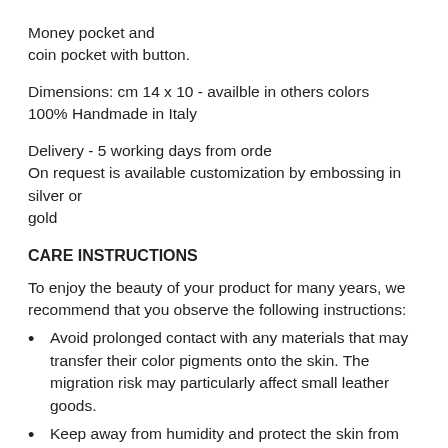Money pocket and coin pocket with button.
Dimensions: cm 14 x 10 - availble in others colors
100% Handmade in Italy
Delivery - 5 working days from orde
On request is available customization by embossing in silver or gold
CARE INSTRUCTIONS
To enjoy the beauty of your product for many years, we recommend that you observe the following instructions:
Avoid prolonged contact with any materials that may transfer their color pigments onto the skin. The migration risk may particularly affect small leather goods.
Keep away from humidity and protect the skin from direct sources of heat (radiators, sun, neon)